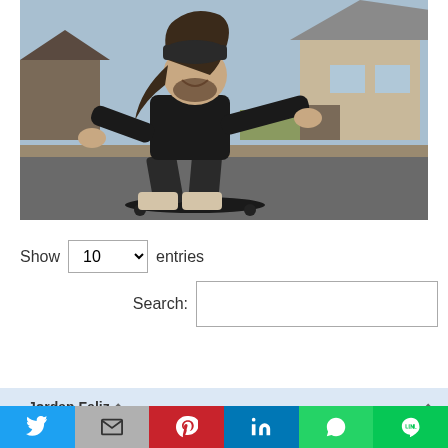[Figure (photo): Person with long hair and beanie hat skateboarding crouched low on a longboard on a suburban street, wearing black hoodie and light tan boots, smiling at camera. Suburban houses visible in background.]
Show 10 entries
Search:
| Jordan Feliz ⬍ | ⬍ |
| --- | --- |